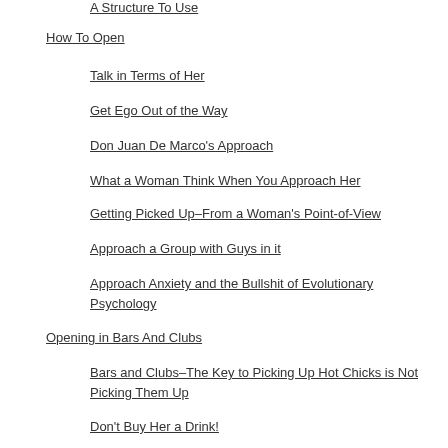A Structure To Use
How To Open
Talk in Terms of Her
Get Ego Out of the Way
Don Juan De Marco's Approach
What a Woman Think When You Approach Her
Getting Picked Up–From a Woman's Point-of-View
Approach a Group with Guys in it
Approach Anxiety and the Bullshit of Evolutionary Psychology
Opening in Bars And Clubs
Bars and Clubs–The Key to Picking Up Hot Chicks is Not Picking Them Up
Don't Buy Her a Drink!
How To Hold Your Drink
A2 Attract Her
Opening DOs and DON'Ts
Mystery's Neg Theory
The Five Attraction Switches